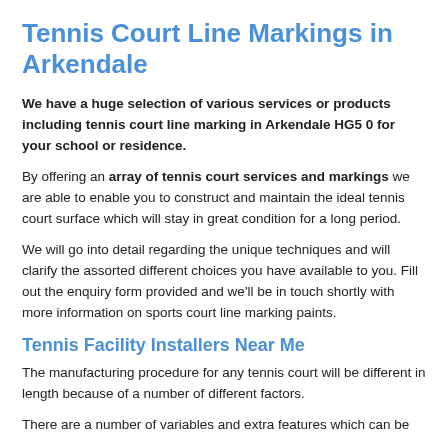Tennis Court Line Markings in Arkendale
We have a huge selection of various services or products including tennis court line marking in Arkendale HG5 0 for your school or residence.
By offering an array of tennis court services and markings we are able to enable you to construct and maintain the ideal tennis court surface which will stay in great condition for a long period.
We will go into detail regarding the unique techniques and will clarify the assorted different choices you have available to you. Fill out the enquiry form provided and we'll be in touch shortly with more information on sports court line marking paints.
Tennis Facility Installers Near Me
The manufacturing procedure for any tennis court will be different in length because of a number of different factors.
There are a number of variables and extra features which can be